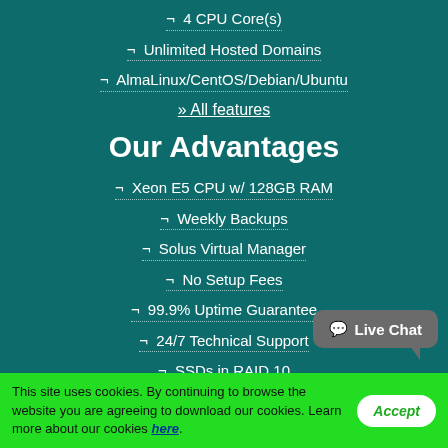¬ 4 CPU Core(s)
¬ Unlimited Hosted Domains
¬ AlmaLinux/CentOS/Debian/Ubuntu
» All features
Our Advantages
¬ Xeon E5 CPU w/ 128GB RAM
¬ Weekly Backups
¬ Solus Virtual Manager
¬ No Setup Fees
¬ 99.9% Uptime Guarantee
¬ 24/7 Technical Support
¬ SSDs in RAID 10
Live Chat
This site uses cookies. By continuing to browse the website you are agreeing to download our cookies. Learn more about our cookies here.